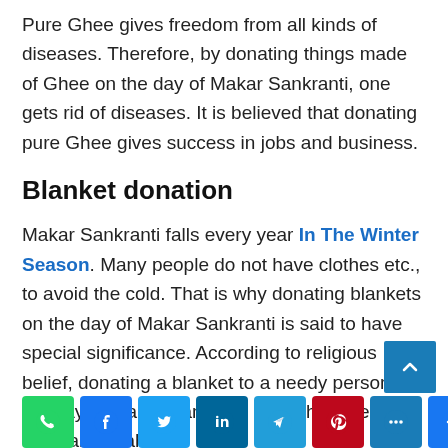Pure Ghee gives freedom from all kinds of diseases. Therefore, by donating things made of Ghee on the day of Makar Sankranti, one gets rid of diseases. It is believed that donating pure Ghee gives success in jobs and business.
Blanket donation
Makar Sankranti falls every year In The Winter Season. Many people do not have clothes etc., to avoid the cold. That is why donating blankets on the day of Makar Sankranti is said to have special significance. According to religious belief, donating a blanket to a needy person on the day of Makar Sankranti ends the defects of the planet Rahu.
[Figure (infographic): Row of social media share icons: WhatsApp (green), Facebook (blue), Twitter (light blue), LinkedIn (dark teal), Telegram (blue), Pinterest (red), another icon (blue), and a share/plus icon (blue). Also a back-to-top button (blue square with up arrow) at bottom right.]